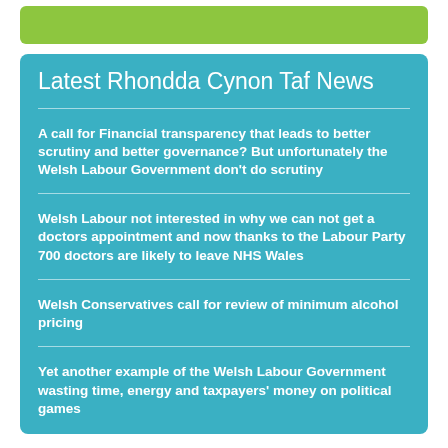Latest Rhondda Cynon Taf News
A call for Financial transparency that leads to better scrutiny and better governance? But unfortunately the Welsh Labour Government don't do scrutiny
Welsh Labour not interested in why we can not get a doctors appointment and now thanks to the Labour Party 700 doctors are likely to leave NHS Wales
Welsh Conservatives call for review of minimum alcohol pricing
Yet another example of the Welsh Labour Government wasting time, energy and taxpayers' money on political games